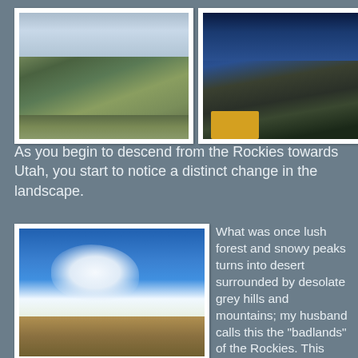[Figure (photo): Mountain landscape with rocky peaks and lush green slopes, overcast sky, road or river at base]
[Figure (photo): Deep canyon with dark rocky cliffs, clear blue sky, winding road and yellow vehicle at bottom right]
As you begin to descend from the Rockies towards Utah, you start to notice a distinct change in the landscape.
[Figure (photo): Desert landscape with desolate grey-brown mesas under a blue sky with large white cumulus clouds]
What was once lush forest and snowy peaks turns into desert surrounded by desolate grey hills and mountains; my husband calls this the "badlands" of the Rockies. This landscape